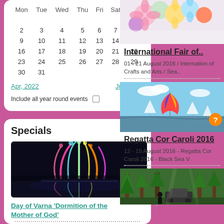| Mon | Tue | Wed | Thu | Fri | Sat | Sun |
| --- | --- | --- | --- | --- | --- | --- |
|  |  |  |  |  |  | 1 |
| 2 | 3 | 4 | 5 | 6 | 7 | 8 |
| 9 | 10 | 11 | 12 | 13 | 14 | 15 |
| 16 | 17 | 18 | 19 | 20 | 21 | 22 |
| 23 | 24 | 25 | 26 | 27 | 28 | 29 |
| 30 | 31 |  |  |  |  |  |
Apr, 2022    Jun, 2022
Include all year round events
Specials
[Figure (photo): Colorful illuminated fountain at night with laser lights reflecting on water]
Day of Varna 'Dormition of the Mother of God'
15 August / Day of Varna 'Dormition of the Mother of God'
[Figure (photo): Colorful origami paper flowers/balls in pastel colors]
International Fair of..
01 - 21 August 2016 / International of Crafts and Arts / Sea..
[Figure (photo): Sailing regatta with colorful spinnaker sails on open water]
Regatta Cor Caroli 2016
12 - 15 August 2016 - Regatta Cor Caroli 2016 - Black Sea V
[Figure (photo): Forest scene with people near a vehicle among pine trees]